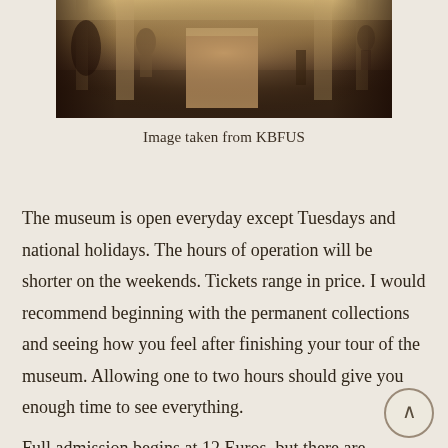[Figure (photo): Interior of a museum hall with sculptures on pedestals, warm lighting, columns visible in the background, dark atmospheric photo.]
Image taken from KBFUS
The museum is open everyday except Tuesdays and national holidays. The hours of operation will be shorter on the weekends. Tickets range in price. I would recommend beginning with the permanent collections and seeing how you feel after finishing your tour of the museum. Allowing one to two hours should give you enough time to see everything.
Full admission begins at 12 Euros, but there are discounted